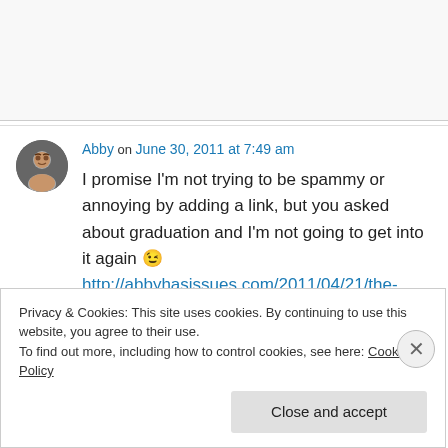[Figure (other): Top grey/white area placeholder]
Abby on June 30, 2011 at 7:49 am
I promise I'm not trying to be spammy or annoying by adding a link, but you asked about graduation and I'm not going to get into it again 😉 http://abbyhasissues.com/2011/04/21/the-graduate/
Privacy & Cookies: This site uses cookies. By continuing to use this website, you agree to their use.
To find out more, including how to control cookies, see here: Cookie Policy
Close and accept